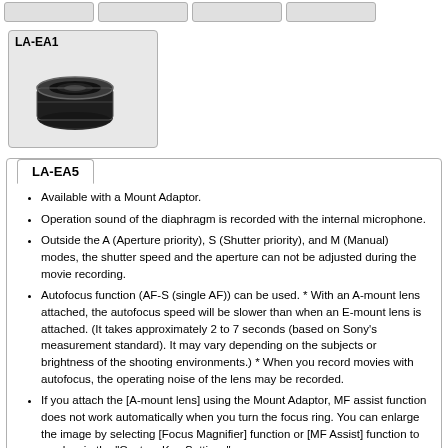[Figure (other): LA-EA1 adapter box with camera lens adapter image]
LA-EA5
Available with a Mount Adaptor.
Operation sound of the diaphragm is recorded with the internal microphone.
Outside the A (Aperture priority), S (Shutter priority), and M (Manual) modes, the shutter speed and the aperture can not be adjusted during the movie recording.
Autofocus function (AF-S (single AF)) can be used. * With an A-mount lens attached, the autofocus speed will be slower than when an E-mount lens is attached. (It takes approximately 2 to 7 seconds (based on Sony’s measurement standard). It may vary depending on the subjects or brightness of the shooting environments.) * When you record movies with autofocus, the operating noise of the lens may be recorded.
If you attach the [A-mount lens] using the Mount Adaptor, MF assist function does not work automatically when you turn the focus ring. You can enlarge the image by selecting [Focus Magnifier] function or [MF Assist] function to any key in the "Custom Key Settings".